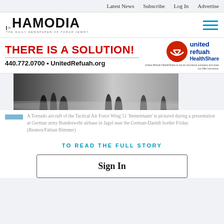Latest News  Subscribe  Log In  Advertise
[Figure (logo): Hamodia newspaper logo with Hebrew text and tagline THE DAILY NEWSPAPER OF TORAH JEWRY]
[Figure (infographic): United Refuah HealthShare advertisement banner: THERE IS A SOLUTION! 440.772.0700 UnitedRefuah.org with logo]
[Figure (photo): Black and white photo of people silhouetted at an airbase, bottom portion visible]
A Tornado aircraft of the Tactical Air Force Wing 51 'Immelmann' is pictured during a presentation at German army Bundeswehr airbase in Jagel near the German-Danish border Friday. (Reuters/Fabian Bimmer)
TO READ THE FULL STORY
Sign In